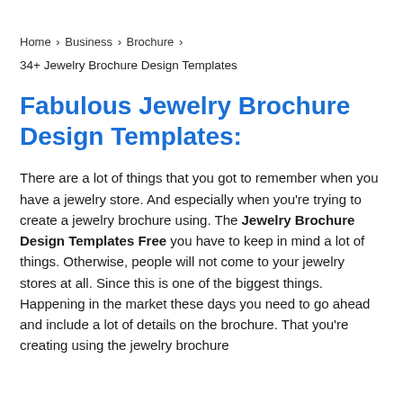Home > Business > Brochure >
34+ Jewelry Brochure Design Templates
Fabulous Jewelry Brochure Design Templates:
There are a lot of things that you got to remember when you have a jewelry store. And especially when you're trying to create a jewelry brochure using. The Jewelry Brochure Design Templates Free you have to keep in mind a lot of things. Otherwise, people will not come to your jewelry stores at all. Since this is one of the biggest things. Happening in the market these days you need to go ahead and include a lot of details on the brochure. That you're creating using the jewelry brochure